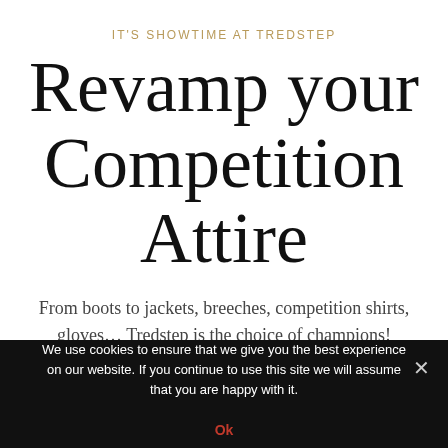IT'S SHOWTIME AT TREDSTEP
Revamp your Competition Attire
From boots to jackets, breeches, competition shirts, gloves… Tredstep is the choice of champions!
We use cookies to ensure that we give you the best experience on our website. If you continue to use this site we will assume that you are happy with it.
Ok